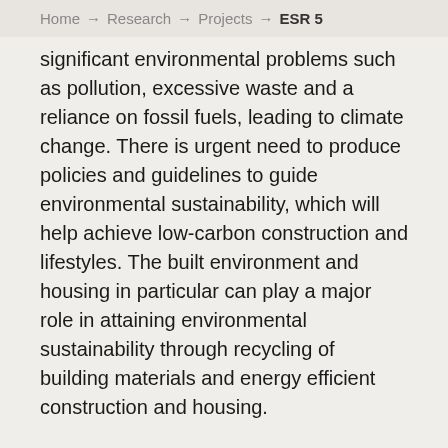Home → Research → Projects → ESR 5
significant environmental problems such as pollution, excessive waste and a reliance on fossil fuels, leading to climate change. There is urgent need to produce policies and guidelines to guide environmental sustainability, which will help achieve low-carbon construction and lifestyles. The built environment and housing in particular can play a major role in attaining environmental sustainability through recycling of building materials and energy efficient construction and housing.
The purpose of this project is to review current sustainability standards used for housing provision to establish